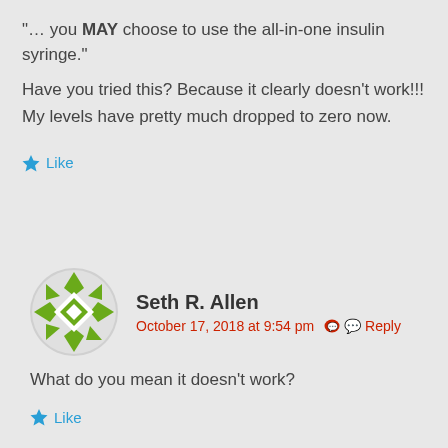"… you MAY choose to use the all-in-one insulin syringe."
Have you tried this? Because it clearly doesn't work!!! My levels have pretty much dropped to zero now.
Like
[Figure (illustration): User avatar for Seth R. Allen — circular green geometric diamond-pattern icon]
Seth R. Allen
October 17, 2018 at 9:54 pm  Reply
What do you mean it doesn't work?
Like